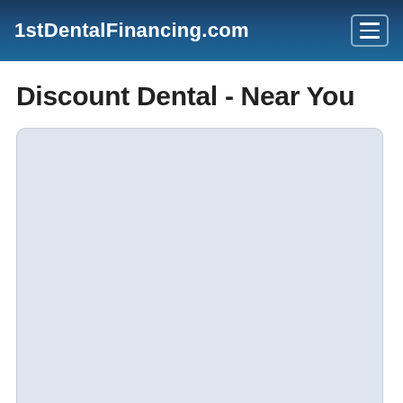1stDentalFinancing.com
Discount Dental - Near You
[Figure (map): A light blue-grey map placeholder box showing a local map area for finding discount dental providers near the user's location.]